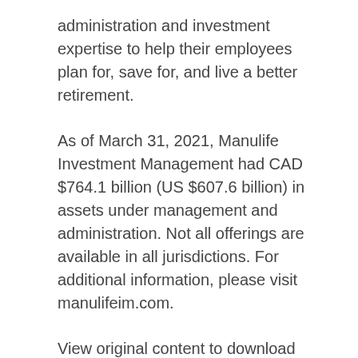administration and investment expertise to help their employees plan for, save for, and live a better retirement.
As of March 31, 2021, Manulife Investment Management had CAD $764.1 billion (US $607.6 billion) in assets under management and administration. Not all offerings are available in all jurisdictions. For additional information, please visit manulifeim.com.
View original content to download multimedia:https://www.prnewswire.com/news-releases/manulife-investment-management-announces-acquisition-of-class-a-logistics-center-in-the-chicago-industrial-market-301342613.html